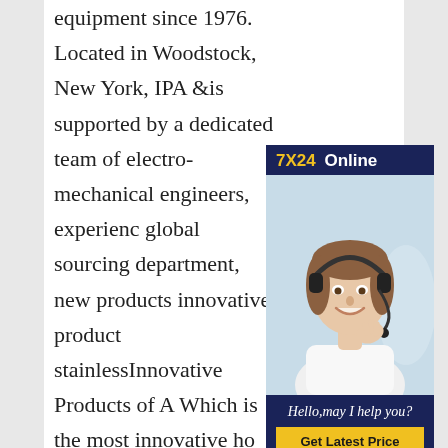equipment since 1976. Located in Woodstock, New York, IPA &is supported by a dedicated team of electro-mechanical engineers, experienc global sourcing department, new products innovative product stainlessInnovative Products of A Which is the most innovative ho improvement product?Which is t innovative home improvement product. Part of Wonderful Engineering home improvement ideas, this is simply cool. More info here. Livescribe stores everything you write with the pen
[Figure (photo): Customer service representative with headset smiling, overlaid with a 7X24 Online banner, a greeting message 'Hello, may I help you?' and a 'Get Latest Price' button.]